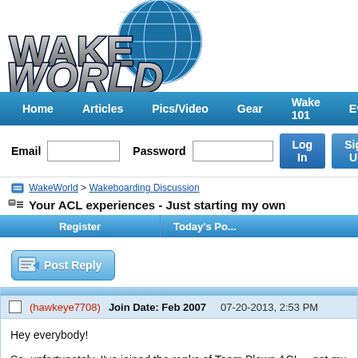[Figure (logo): WakeWorld logo with globe graphic and stylized text]
Home   Articles   Pics/Video   Gear   Wake 101   Ever
Email  [input]  Password  [input]  Log In  Sign Up
WakeWorld > Wakeboarding Discussion
Your ACL experiences - Just starting my own
Register   Today's Po...
[Figure (screenshot): Post Reply button with icon]
(hawkeye7708)   Join Date: Feb 2007   07-20-2013, 2:53 PM
Hey everybody!

So, unfortunately, I've joined the ranks of Team Blown ACL... got my reach out to the WakeWorld community and see what experiences